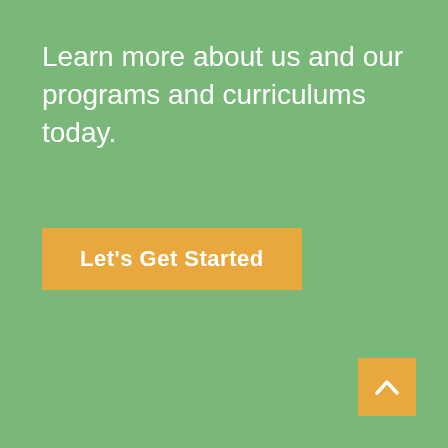Learn more about us and our programs and curriculums today.
[Figure (other): Orange/yellow rectangular button with white bold text reading 'Let's Get Started']
[Figure (other): Orange/yellow square scroll-to-top button with a white upward-pointing chevron arrow, positioned in the bottom-right corner]